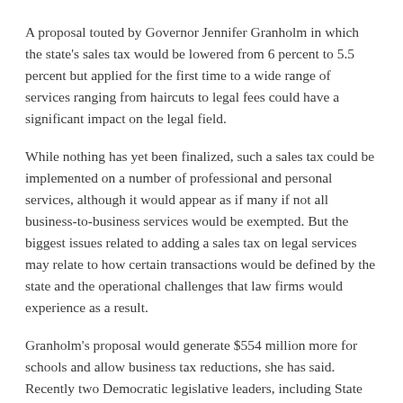A proposal touted by Governor Jennifer Granholm in which the state's sales tax would be lowered from 6 percent to 5.5 percent but applied for the first time to a wide range of services ranging from haircuts to legal fees could have a significant impact on the legal field.
While nothing has yet been finalized, such a sales tax could be implemented on a number of professional and personal services, although it would appear as if many if not all business-to-business services would be exempted. But the biggest issues related to adding a sales tax on legal services may relate to how certain transactions would be defined by the state and the operational challenges that law firms would experience as a result.
Granholm's proposal would generate $554 million more for schools and allow business tax reductions, she has said. Recently two Democratic legislative leaders, including State House Speaker Andy Dillon (D-Redford Township), have said that Michigan voters might be asked to decide on